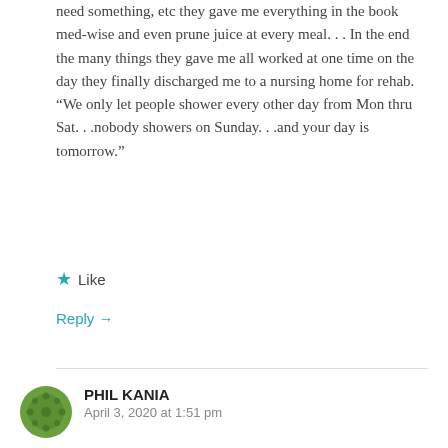need something, etc they gave me everything in the book med-wise and even prune juice at every meal. . . In the end the many things they gave me all worked at one time on the day they finally discharged me to a nursing home for rehab.
“We only let people shower every other day from Mon thru Sat. . .nobody showers on Sunday. . .and your day is tomorrow.”
Like
Reply →
PHIL KANIA
April 3, 2020 at 1:51 pm
Joe I know what it’s like being married to an RN. Hot prune juice was her go to when she came back to